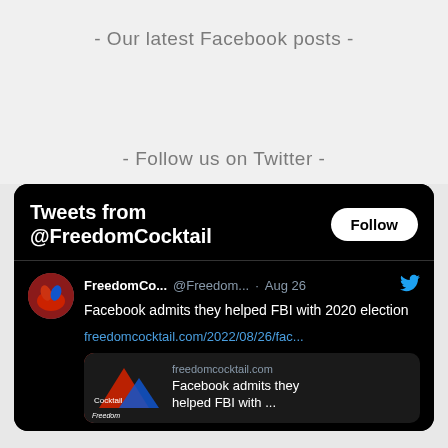- Our latest Facebook posts -
- Follow us on Twitter -
[Figure (screenshot): Twitter widget showing Tweets from @FreedomCocktail with a Follow button, and a tweet by FreedomCo... (@Freedom...) on Aug 26: 'Facebook admits they helped FBI with 2020 election' with link freedomcocktail.com/2022/08/26/fac... and a link card showing freedomcocktail.com 'Facebook admits they helped FBI with ...']